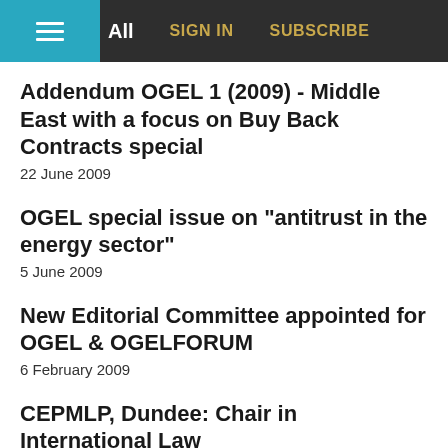All  SIGN IN  SUBSCRIBE
Addendum OGEL 1 (2009) - Middle East with a focus on Buy Back Contracts special
22 June 2009
OGEL special issue on "antitrust in the energy sector"
5 June 2009
New Editorial Committee appointed for OGEL & OGELFORUM
6 February 2009
CEPMLP, Dundee: Chair in International Law
3 February 2009